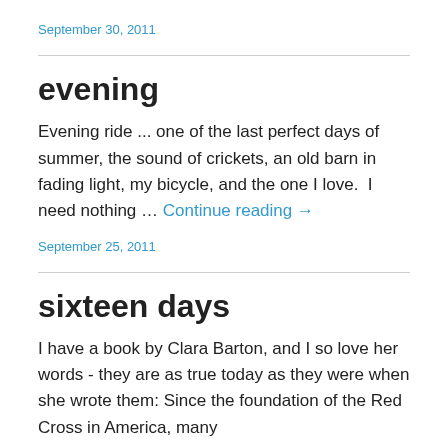September 30, 2011
evening
Evening ride ... one of the last perfect days of summer, the sound of crickets, an old barn in fading light, my bicycle, and the one I love.  I need nothing … Continue reading →
September 25, 2011
sixteen days
I have a book by Clara Barton, and I so love her words - they are as true today as they were when she wrote them: Since the foundation of the Red Cross in America, many